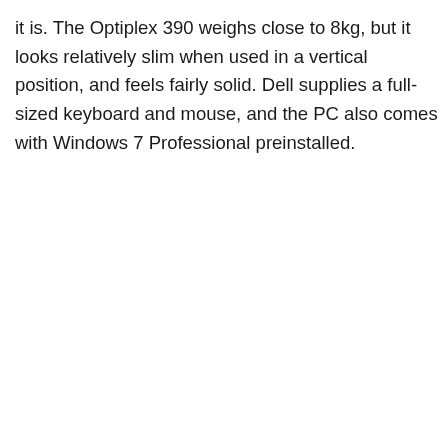it is. The Optiplex 390 weighs close to 8kg, but it looks relatively slim when used in a vertical position, and feels fairly solid. Dell supplies a full-sized keyboard and mouse, and the PC also comes with Windows 7 Professional preinstalled.